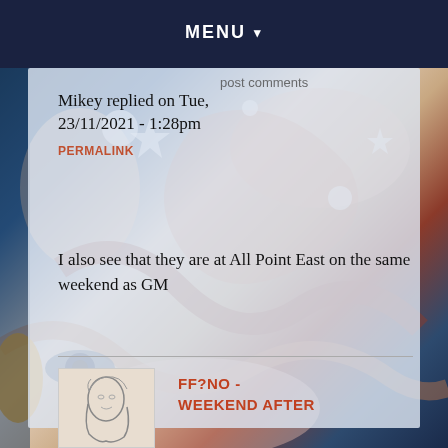MENU ▾
post comments
Mikey replied on Tue, 23/11/2021 - 1:28pm
PERMALINK
I also see that they are at All Point East on the same weekend as GM
FF?NO - WEEKEND AFTER